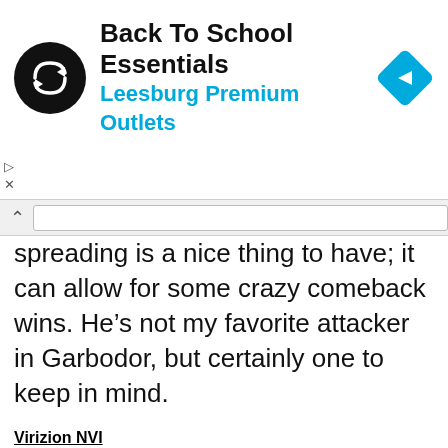[Figure (screenshot): Advertisement banner for 'Back To School Essentials' by Leesburg Premium Outlets, featuring a circular black logo with double arrow symbol and a blue diamond navigation icon on the right.]
Spreading is a nice thing to have; it can allow for some crazy comeback wins. He’s not my favorite attacker in Garbodor, but certainly one to keep in mind.
Virizion NVI
While his second attack is underwhelming, a T1 Double Draw is